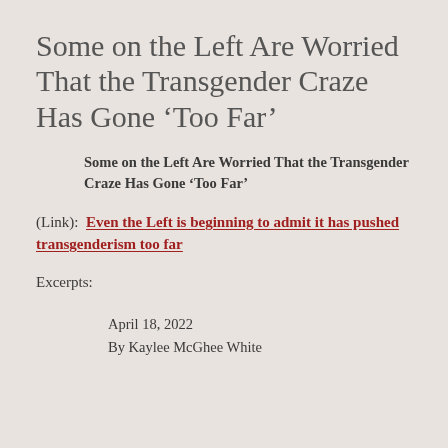Some on the Left Are Worried That the Transgender Craze Has Gone ‘Too Far’
Some on the Left Are Worried That the Transgender Craze Has Gone ‘Too Far’
(Link):  Even the Left is beginning to admit it has pushed transgenderism too far
Excerpts:
April 18, 2022
By Kaylee McGhee White